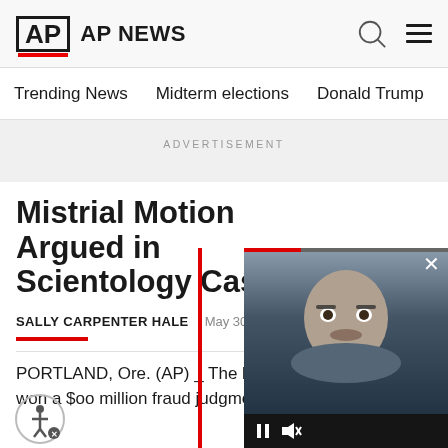AP NEWS
Trending News    Midterm elections    Donald Trump    Russia-Ukr
ADVERTISEMENT
Mistrial Motion Argued in Scientology Case
SALLY CARPENTER HALE    May 30, 1
PORTLAND, Ore. (AP) _ The lawy…  won a $oo million fraud judgment…